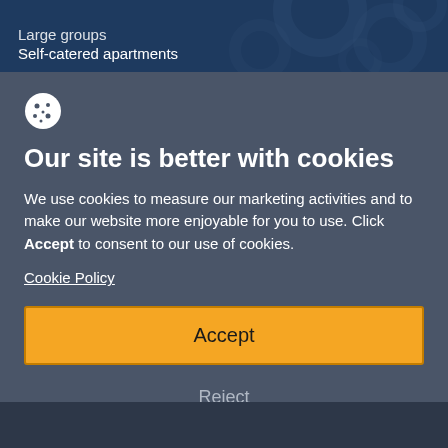Large groups
Self-catered apartments
Our site is better with cookies
We use cookies to measure our marketing activities and to make our website more enjoyable for you to use. Click Accept to consent to our use of cookies.
Cookie Policy
Accept
Reject